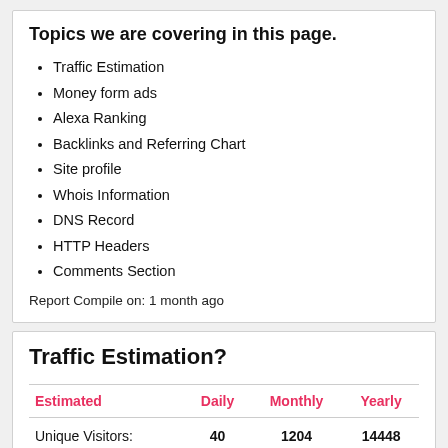Topics we are covering in this page.
Traffic Estimation
Money form ads
Alexa Ranking
Backlinks and Referring Chart
Site profile
Whois Information
DNS Record
HTTP Headers
Comments Section
Report Compile on: 1 month ago
Traffic Estimation?
| Estimated | Daily | Monthly | Yearly |
| --- | --- | --- | --- |
| Unique Visitors: | 40 | 1204 | 14448 |